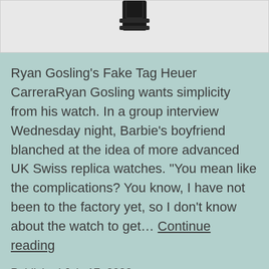[Figure (photo): Partial top view of a watch (Tag Heuer Carrera) showing the clasp/buckle area against a light gray background]
Ryan Gosling's Fake Tag Heuer CarreraRyan Gosling wants simplicity from his watch. In a group interview Wednesday night, Barbie's boyfriend blanched at the idea of more advanced UK Swiss replica watches. “You mean like the complications? You know, I have not been to the factory yet, so I don’t know about the watch to get… Continue reading
Published July 17, 2022